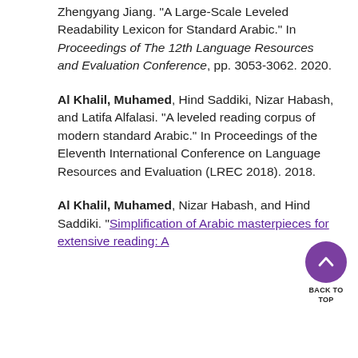Zhengyang Jiang. "A Large-Scale Leveled Readability Lexicon for Standard Arabic." In Proceedings of The 12th Language Resources and Evaluation Conference, pp. 3053-3062. 2020.
Al Khalil, Muhamed, Hind Saddiki, Nizar Habash, and Latifa Alfalasi. "A leveled reading corpus of modern standard Arabic." In Proceedings of the Eleventh International Conference on Language Resources and Evaluation (LREC 2018). 2018.
Al Khalil, Muhamed, Nizar Habash, and Hind Saddiki. "Simplification of Arabic masterpieces for extensive reading: A ...